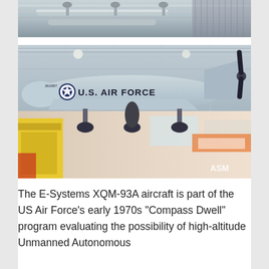[Figure (photo): Partial view of aircraft hanging from ceiling in a museum hangar, showing undercarriage and pipes overhead.]
[Figure (photo): E-Systems XQM-93A aircraft displayed hanging in a museum hangar. The gray aircraft has 'U.S. AIR FORCE' lettering on the fuselage and a star insignia. The hangar interior is visible in the background with yellow equipment and other displays.]
The E-Systems XQM-93A aircraft is part of the US Air Force’s early 1970s “Compass Dwell” program evaluating the possibility of high-altitude Unmanned Autonomous